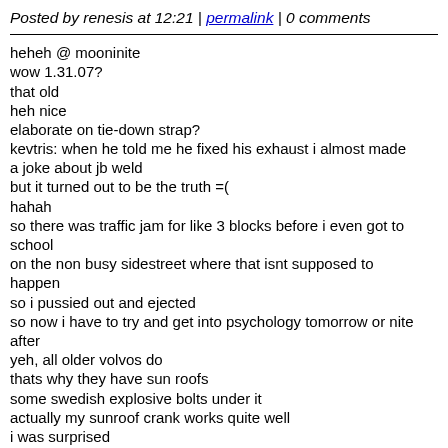Posted by renesis at 12:21 | permalink | 0 comments
heheh @ mooninite
wow 1.31.07?
that old
heh nice
elaborate on tie-down strap?
kevtris: when he told me he fixed his exhaust i almost made a joke about jb weld
but it turned out to be the truth =(
hahah
so there was traffic jam for like 3 blocks before i even got to school
on the non busy sidestreet where that isnt supposed to happen
so i pussied out and ejected
so now i have to try and get into psychology tomorrow or nite after
yeh, all older volvos do
thats why they have sun roofs
some swedish explosive bolts under it
actually my sunroof crank works quite well
i was surprised
like, it goes two ways!